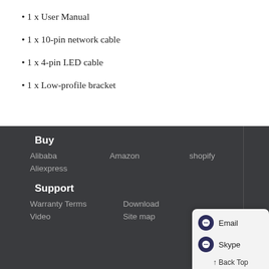1 x User Manual
1 x 10-pin network cable
1 x 4-pin LED cable
1 x Low-profile bracket
Buy
Alibaba    Amazon    shopify
Aliexpress
Support
Warranty Terms    Download
Video    Site map
Email
Skype
↑ Back Top